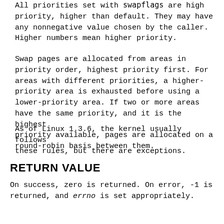All priorities set with swapflags are high priority, higher than default. They may have any nonnegative value chosen by the caller. Higher numbers mean higher priority.
Swap pages are allocated from areas in priority order, highest priority first. For areas with different priorities, a higher-priority area is exhausted before using a lower-priority area. If two or more areas have the same priority, and it is the highest priority available, pages are allocated on a round-robin basis between them.
As of Linux 1.3.6, the kernel usually follows these rules, but there are exceptions.
RETURN VALUE
On success, zero is returned. On error, -1 is returned, and errno is set appropriately.